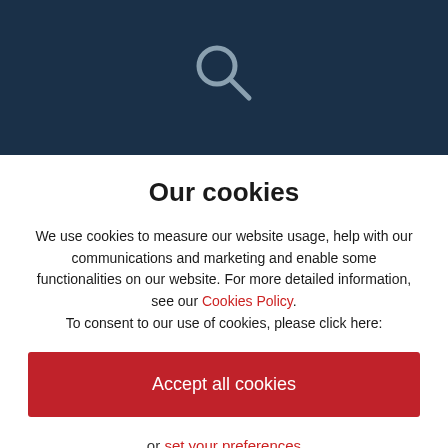[Figure (illustration): Dark navy blue header background with a grey magnifying glass search icon in the center]
Find a what3words address
Our cookies
We use cookies to measure our website usage, help with our communications and marketing and enable some functionalities on our website. For more detailed information, see our Cookies Policy. To consent to our use of cookies, please click here:
Accept all cookies
or set your preferences